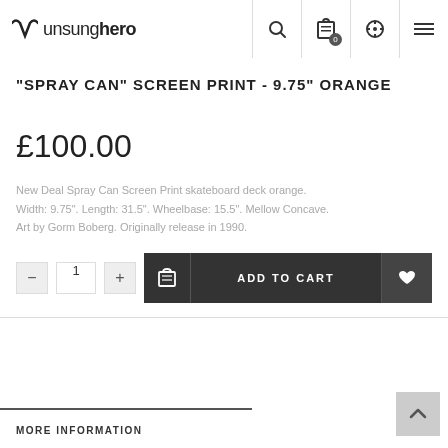unsunghero
"SPRAY CAN" SCREEN PRINT - 9.75" ORANGE
£100.00
New Deal Spray Can Screen Print skateboard deck orange. Width: 9.75". Length: 31.5". Wheelbase: 15.5". Mellow Concave. Art by Gorm Boberg. Originally release in 1990.
ADD TO CART
MORE INFORMATION